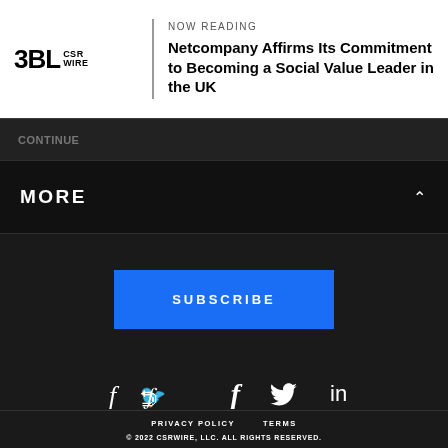3BL CSR WIRE — NOW READING: Netcompany Affirms Its Commitment to Becoming a Social Value Leader in the UK
MORE
SUBSCRIBE
[Figure (infographic): Social media icons: Facebook (f), Twitter (bird), LinkedIn (in)]
PRIVACY POLICY   TERMS   © 2022 CSRWIRE, LLC. ALL RIGHTS RESERVED.